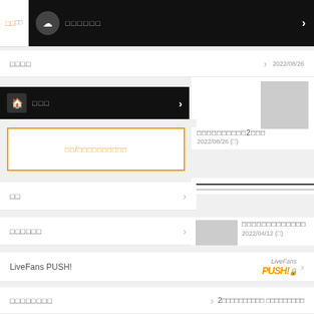□□ | □□ [icon] □□□□□□
□□□□ ›  2022/08/26
[home icon] □□□ › □□□□□□□□□2□□□ 2022/08/26 (□)
□□/□□□□□□□□□□ (orange box)
□□ ›
□□□□□□ › □□□□□□□□□□□□□ 2022/04/12 (□)
LiveFans PUSH! [LiveFans PUSH! logo] ›
□□□□□□□□ › 2□□□□□□□□□□ □□□□□□□□□ □)
□□□□ ›
OHH□□□□□□□□□□ □BA
□□□□ ›